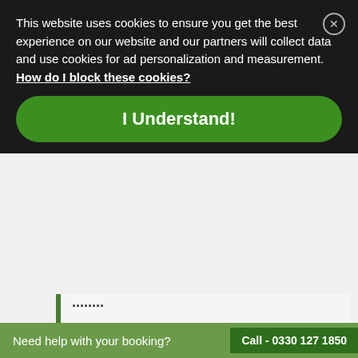This website uses cookies to ensure you get the best experience on our website and our partners will collect data and use cookies for ad personalization and measurement. How do I block these cookies?
I Understand!
This is a remote learning Course, Delivered Via live feed, Using Zoom or Microsoft Teams
Wednesday 7th Sep - Friday 9th Sep
9:00am - 4:00pm
£375 + VAT
Need help with your booking?  Call - 0330 127 1850